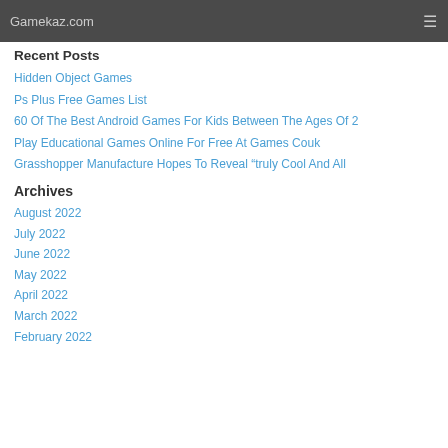Gamekaz.com
Recent Posts
Hidden Object Games
Ps Plus Free Games List
60 Of The Best Android Games For Kids Between The Ages Of 2
Play Educational Games Online For Free At Games Couk
Grasshopper Manufacture Hopes To Reveal “truly Cool And All
Archives
August 2022
July 2022
June 2022
May 2022
April 2022
March 2022
February 2022